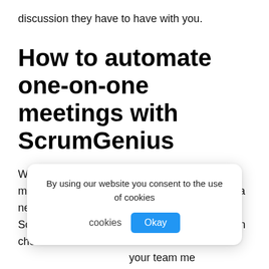discussion they have to have with you.
How to automate one-on-one meetings with ScrumGenius
With ScrumGenius, automating a private meeting is simple. On your dashboard, create a new report. From there, you can choose Scrumgenius's one on one report. You can then choose the [members] your team me[mbers]
[Figure (screenshot): Cookie consent popup overlay with text 'By using our website you consent to the use of cookies' and an 'Okay' button]
After choosing the members, you can choose